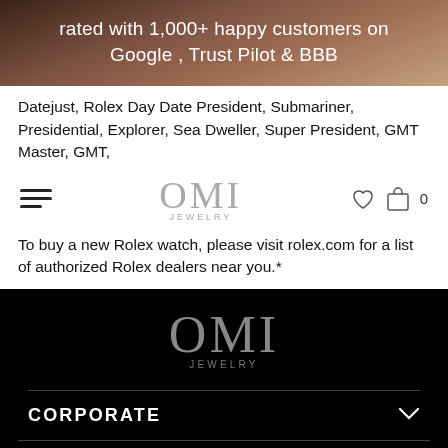rated with 1,000+ happy customers on Google , Trust Pilot & BBB
Datejust, Rolex Day Date President, Submariner, Presidential, Explorer, Sea Dweller, Super President, GMT Master, GMT,
[Figure (logo): OMI JEWELRY logo centered with hamburger menu on left and heart/cart icons on right]
To buy a new Rolex watch, please visit rolex.com for a list of authorized Rolex dealers near you.*
[Figure (logo): OMI JEWELRY logo large in white/gray on black background]
CORPORATE
SUPPORT